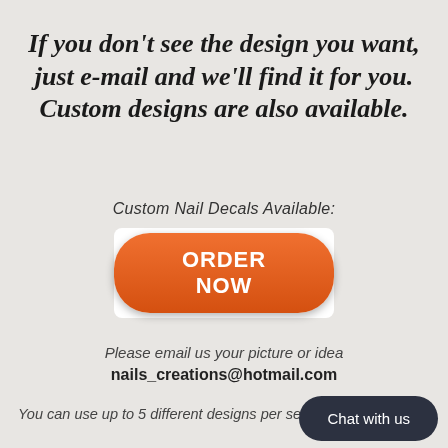If you don't see the design you want, just e-mail and we'll find it for you. Custom designs are also available.
Custom Nail Decals Available:
[Figure (other): Orange rounded button with white bold text 'ORDER NOW']
Please email us your picture or idea
nails_creations@hotmail.com
You can use up to 5 different designs per set
Chat with us